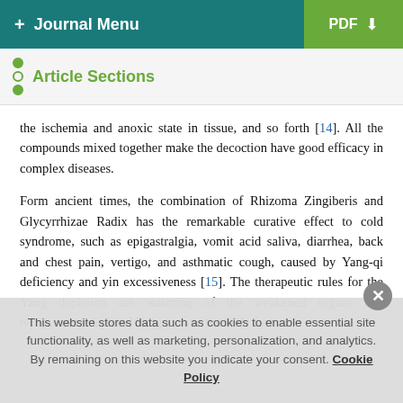+ Journal Menu | PDF
Article Sections
the ischemia and anoxic state in tissue, and so forth [14]. All the compounds mixed together make the decoction have good efficacy in complex diseases.
Form ancient times, the combination of Rhizoma Zingiberis and Glycyrrhizae Radix has the remarkable curative effect to cold syndrome, such as epigastralgia, vomit acid saliva, diarrhea, back and chest pain, vertigo, and asthmatic cough, caused by Yang-qi deficiency and yin excessiveness [15]. The therapeutic rules for the Yang depletion are warming of the weakened organs and recuperating depleted Yang to save the body from collapse [16. The extracts of Glycyrrhiza Radix and
This website stores data such as cookies to enable essential site functionality, as well as marketing, personalization, and analytics. By remaining on this website you indicate your consent. Cookie Policy